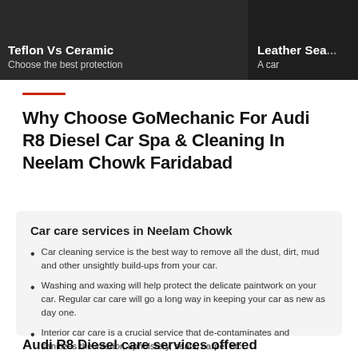[Figure (screenshot): Top banner with two dark panels. Left panel: 'Teflon Vs Ceramic / Choose the best protection'. Right panel (partially visible): 'Leather Sea... / A car...']
Why Choose GoMechanic For Audi R8 Diesel Car Spa & Cleaning In Neelam Chowk Faridabad
Car care services in Neelam Chowk
Car cleaning service is the best way to remove all the dust, dirt, mud and other unsightly build-ups from your car.
Washing and waxing will help protect the delicate paintwork on your car. Regular car care will go a long way in keeping your car as new as day one.
Interior car care is a crucial service that de-contaminates and sanitizes the interior, upholstery, seats, carpet etc.
Audi R8 Diesel care services offered